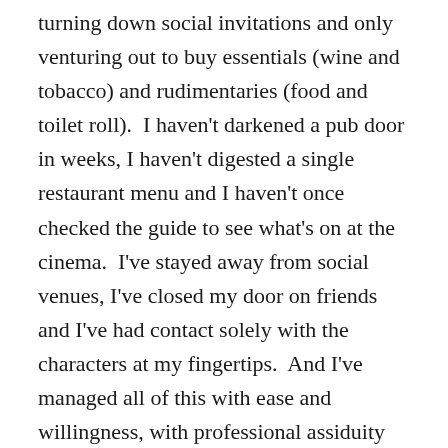turning down social invitations and only venturing out to buy essentials (wine and tobacco) and rudimentaries (food and toilet roll).  I haven't darkened a pub door in weeks, I haven't digested a single restaurant menu and I haven't once checked the guide to see what's on at the cinema.  I've stayed away from social venues, I've closed my door on friends and I've had contact solely with the characters at my fingertips.  And I've managed all of this with ease and willingness, with professional assiduity and with joyful indulgence.
But yesterday's news changed all of that, because this thing I once thought was a slowboat from China sailed